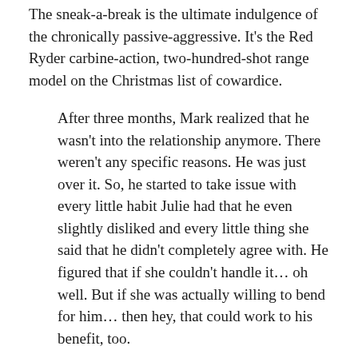The sneak-a-break is the ultimate indulgence of the chronically passive-aggressive. It's the Red Ryder carbine-action, two-hundred-shot range model on the Christmas list of cowardice.
After three months, Mark realized that he wasn't into the relationship anymore. There weren't any specific reasons. He was just over it. So, he started to take issue with every little habit Julie had that he even slightly disliked and every little thing she said that he didn't completely agree with. He figured that if she couldn't handle it… oh well. But if she was actually willing to bend for him… then hey, that could work to his benefit, too.
Not surprisingly, she grew tired of his crankiness and called off the relationship.